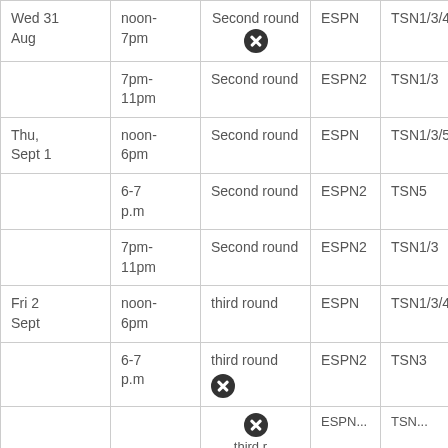| Date | Time | Round | US TV | Canada TV |
| --- | --- | --- | --- | --- |
| Wed 31 Aug | noon-7pm | Second round ✕ | ESPN | TSN1/3/4 |
|  | 7pm-11pm | Second round | ESPN2 | TSN1/3 |
| Thu, Sept 1 | noon-6pm | Second round | ESPN | TSN1/3/5 |
|  | 6-7 p.m | Second round | ESPN2 | TSN5 |
|  | 7pm-11pm | Second round | ESPN2 | TSN1/3 |
| Fri 2 Sept | noon-6pm | third round | ESPN | TSN1/3/4 |
|  | 6-7 p.m | third round ✕ | ESPN2 | TSN3 |
|  |  | third round... | ESPN... | TSN... |